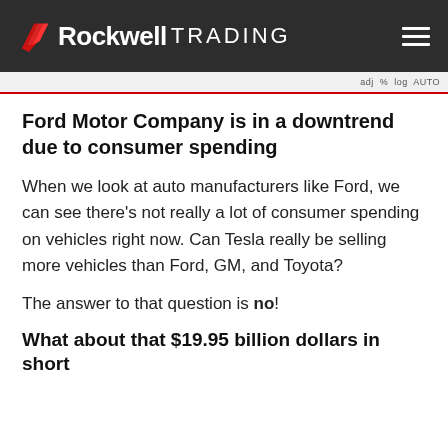Rockwell TRADING
[Figure (screenshot): Partial chart bar with text labels: adj % log AUTO]
Ford Motor Company is in a downtrend due to consumer spending
When we look at auto manufacturers like Ford, we can see there's not really a lot of consumer spending on vehicles right now. Can Tesla really be selling more vehicles than Ford, GM, and Toyota?
The answer to that question is no!
What about that $19.95 billion dollars in short